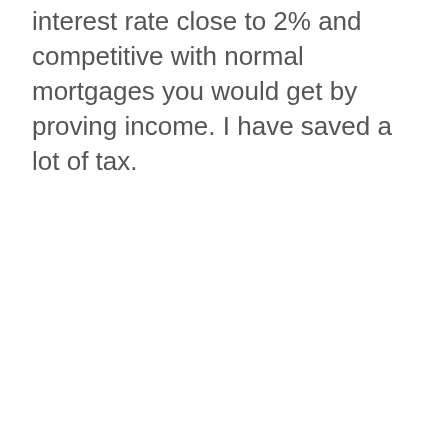interest rate close to 2% and competitive with normal mortgages you would get by proving income. I have saved a lot of tax.